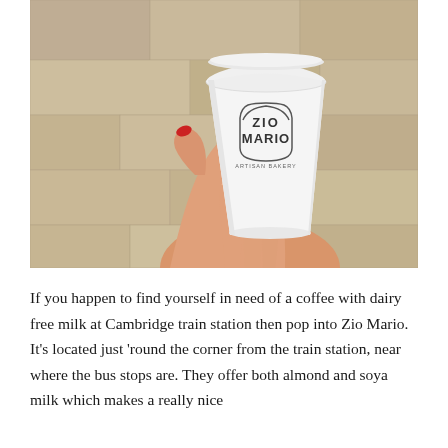[Figure (photo): A hand with red-painted fingernails holding a white paper coffee cup branded with 'Zio Mario Artisan Bakery' logo, against a stone/brick background.]
If you happen to find yourself in need of a coffee with dairy free milk at Cambridge train station then pop into Zio Mario. It's located just 'round the corner from the train station, near where the bus stops are. They offer both almond and soya milk which makes a really nice